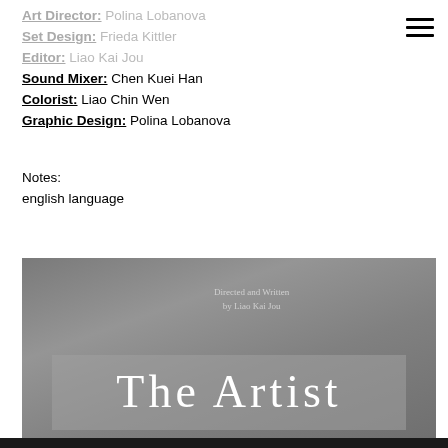Art Director: Polina Lobanova
Set Design: Frieda Kittler
Editor: Liao Kai Jou
Sound Mixer: Chen Kuei Han
Colorist: Liao Chin Wen
Graphic Design: Polina Lobanova
Notes:
english language
[Figure (photo): Film title card screenshot on grey background showing 'Directed and Written by Liao Kai Jou' and 'The Artist' in large serif text]